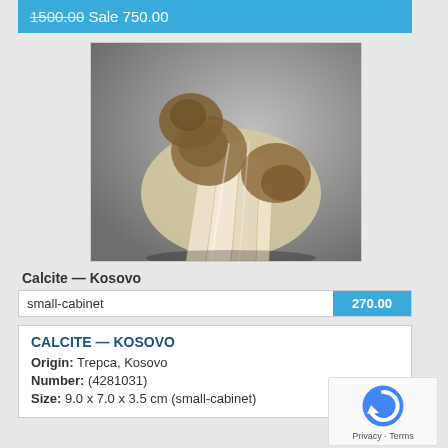1500.00 Sale 750.00
[Figure (photo): Calcite mineral specimen from Kosovo — creamy white bladed calcite crystals with brown/golden sphalerite or pyrite inclusions, on a grey gradient background.]
Calcite — Kosovo
small-cabinet   270.00
CALCITE — KOSOVO
Origin: Trepca, Kosovo
Number: (4281031)
Size: 9.0 x 7.0 x 3.5 cm (small-cabinet)